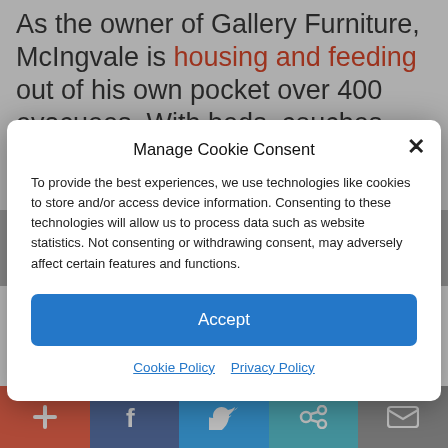As the owner of Gallery Furniture, McIngvale is housing and feeding out of his own pocket over 400 evacuees. With beds, couches, easy chairs, and showers
got three feet of water in it.
Manage Cookie Consent
To provide the best experiences, we use technologies like cookies to store and/or access device information. Consenting to these technologies will allow us to process data such as website statistics. Not consenting or withdrawing consent, may adversely affect certain features and functions.
Accept
Cookie Policy   Privacy Policy